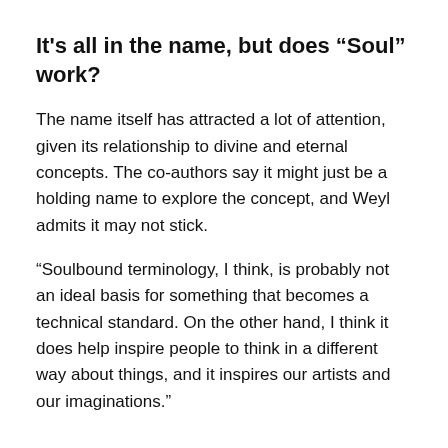It’s all in the name, but does “Soul” work?
The name itself has attracted a lot of attention, given its relationship to divine and eternal concepts. The co-authors say it might just be a holding name to explore the concept, and Weyl admits it may not stick.
“Soulbound terminology, I think, is probably not an ideal basis for something that becomes a technical standard. On the other hand, I think it does help inspire people to think in a different way about things, and it inspires our artists and our imaginations.”